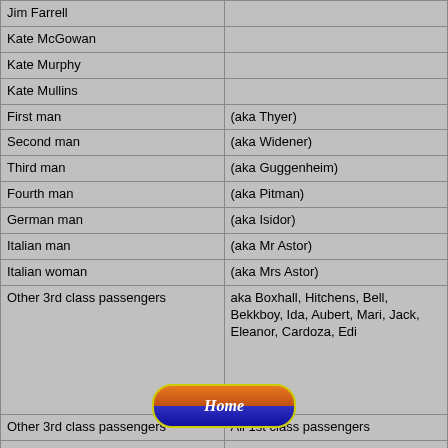| Character | Also known as |
| --- | --- |
| Jim Farrell |  |
| Kate McGowan |  |
| Kate Murphy |  |
| Kate Mullins |  |
| First man | (aka Thyer) |
| Second man | (aka Widener) |
| Third man | (aka Guggenheim) |
| Fourth man | (aka Pitman) |
| German man | (aka Isidor) |
| Italian man | (aka Mr Astor) |
| Italian woman | (aka Mrs Astor) |
| Other 3rd class passengers | aka Boxhall, Hitchens, Bell, Bekkboy, Ida, Aubert, Mari, Jack, Eleanor, Cardoza, Edi |
| Other 3rd class passengers | All 1st class passengers |
| Other 3rd clas passengers | ? |